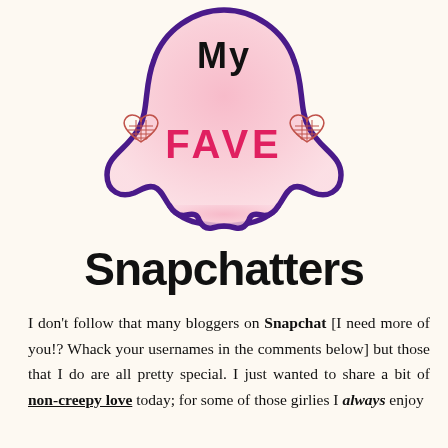[Figure (illustration): Snapchat ghost logo shape with pink watercolor fill, dark purple outline, 'My' in bold black at top, 'FAVE' in bold red/pink letters in center, flanked by two decorative red outlined hearts]
SNAPCHATTERS
I don't follow that many bloggers on Snapchat [I need more of you!? Whack your usernames in the comments below] but those that I do are all pretty special. I just wanted to share a bit of non-creepy love today; for some of those girlies I always enjoy